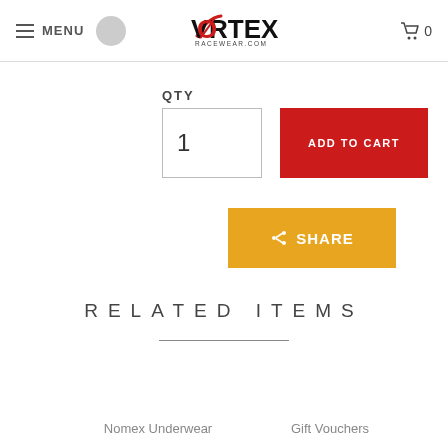MENU | VORTEX RACEWEAR.COM | 0
QTY
1
ADD TO CART
SHARE
RELATED ITEMS
Nomex Underwear
Gift Vouchers